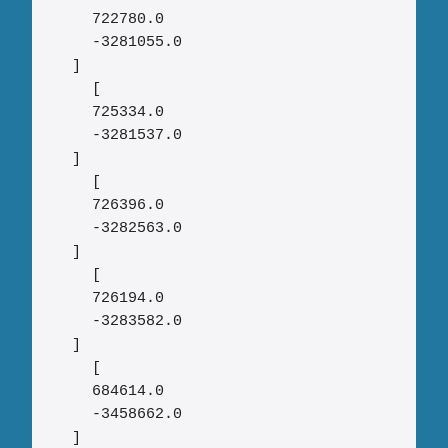722780.0
-3281055.0
]
[
725334.0
-3281537.0
]
[
726396.0
-3282563.0
]
[
726194.0
-3283582.0
]
[
684614.0
-3458662.0
]